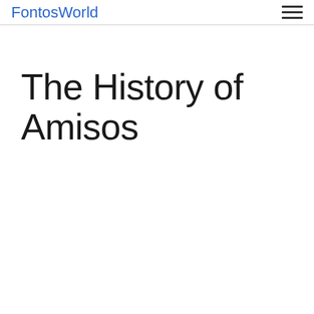FontosWorld
The History of Amisos